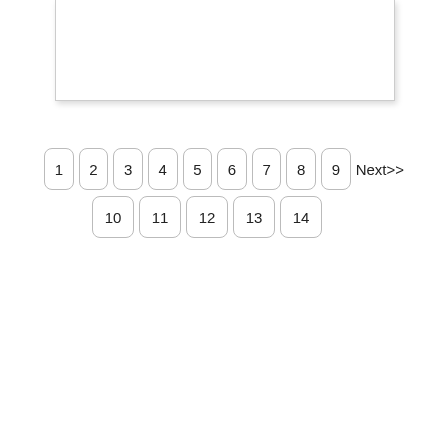[Figure (screenshot): White rectangular box with light shadow, partially visible at top of page]
1 2 3 4 5 6 7 8 9 Next>>
10 11 12 13 14